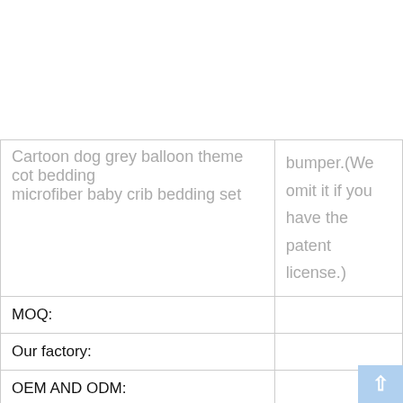| Product | Details |
| --- | --- |
| Cartoon dog grey balloon theme cot bedding microfiber baby crib bedding set | bumper.(We omit it if you have the patent license.) |
| MOQ: |  |
| Our factory: |  |
| OEM AND ODM: |  |
| Certification: |  |
| Package: |  |
| Sample: |  |
| Sample Delivery Time: |  |
| Delivery Time: |  |
| Payment Term: | b) |